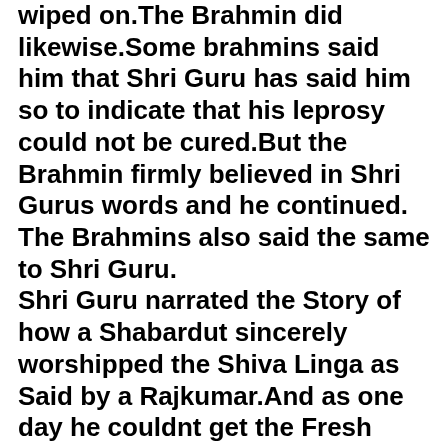wiped on.The Brahmin did likewise.Some brahmins said him that Shri Guru has said him so to indicate that his leprosy could not be cured.But the Brahmin firmly believed in Shri Gurus words and he continued. The Brahmins also said the same to Shri Guru.
Shri Guru narrated the Story of how a Shabardut sincerely worshipped the Shiva Linga as Said by a Rajkumar.And as one day he couldnt get the Fresh Chita Bhasma,he burnt his own wife (as said by herself) and offered it to Linga.But again he found his wife at Home.Lord Shiva appeared before the couple and blessed them.Thus is the Importance of belief in Gurus words.
Shri Guru after somedays Sprinkled the Holy Water from his bowl to the Log and